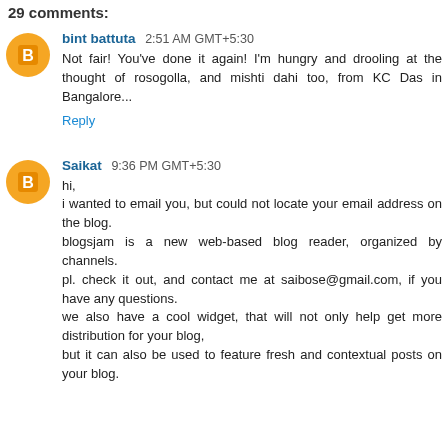29 comments:
bint battuta 2:51 AM GMT+5:30
Not fair! You've done it again! I'm hungry and drooling at the thought of rosogolla, and mishti dahi too, from KC Das in Bangalore...
Reply
Saikat 9:36 PM GMT+5:30
hi,
i wanted to email you, but could not locate your email address on the blog.
blogsjam is a new web-based blog reader, organized by channels.
pl. check it out, and contact me at saibose@gmail.com, if you have any questions.
we also have a cool widget, that will not only help get more distribution for your blog,
but it can also be used to feature fresh and contextual posts on your blog.